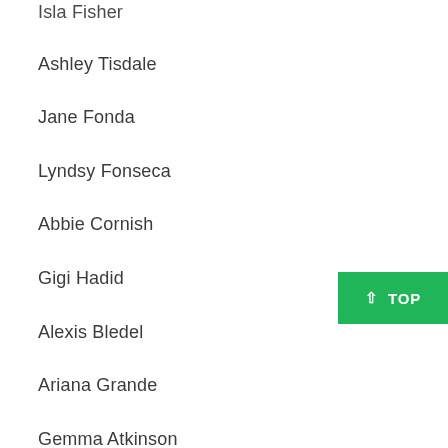Isla Fisher
Ashley Tisdale
Jane Fonda
Lyndsy Fonseca
Abbie Cornish
Gigi Hadid
Alexis Bledel
Ariana Grande
Gemma Atkinson
Courtney Cox
Emily Deschanel